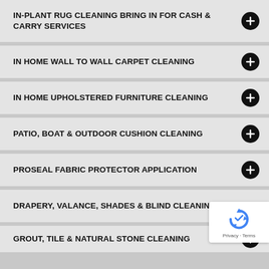IN-PLANT RUG CLEANING BRING IN FOR CASH & CARRY SERVICES
IN HOME WALL TO WALL CARPET CLEANING
IN HOME UPHOLSTERED FURNITURE CLEANING
PATIO, BOAT & OUTDOOR CUSHION CLEANING
PROSEAL FABRIC PROTECTOR APPLICATION
DRAPERY, VALANCE, SHADES & BLIND CLEANING
GROUT, TILE & NATURAL STONE CLEANING